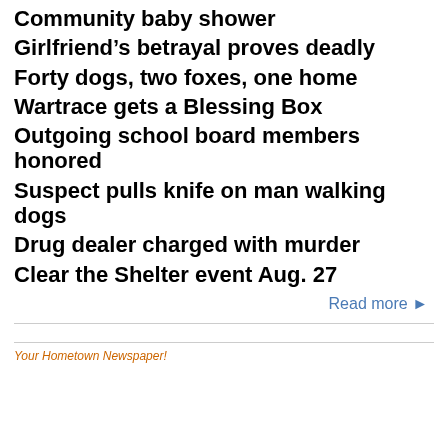Community baby shower
Girlfriend’s betrayal proves deadly
Forty dogs, two foxes, one home
Wartrace gets a Blessing Box
Outgoing school board members honored
Suspect pulls knife on man walking dogs
Drug dealer charged with murder
Clear the Shelter event Aug. 27
Read more ►
Your Hometown Newspaper!